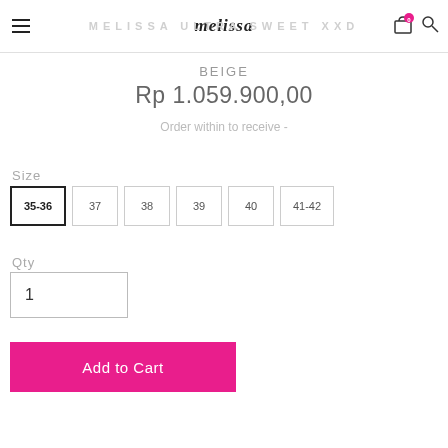melissa — MELISSA ULTRA SWEET XX
BEIGE
Rp 1.059.900,00
Order within to receive -
Size
35-36 (selected)
37
38
39
40
41-42
Qty
1
Add to Cart